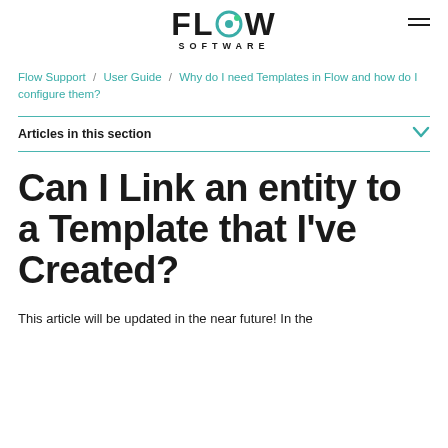FLOW SOFTWARE
Flow Support / User Guide / Why do I need Templates in Flow and how do I configure them?
Articles in this section
Can I Link an entity to a Template that I've Created?
This article will be updated in the near future! In the